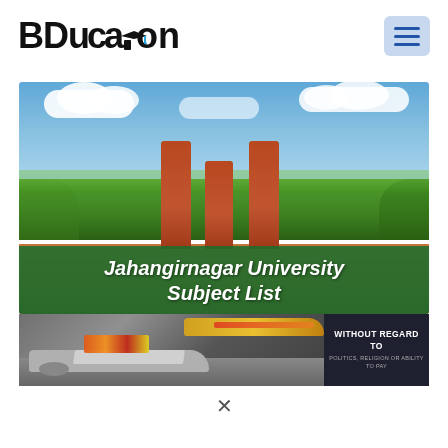[Figure (logo): BDucation logo with graduation cap icon replacing the letter 'i']
[Figure (photo): Jahangirnagar University campus photo showing a brick U-shaped monument against a sky with trees, with a green overlay banner reading 'Jahangirnagar University Subject List']
Jahangirnagar University Subject List
[Figure (photo): Advertisement banner showing cargo airplanes on tarmac with text 'WITHOUT REGARD TO POLITICS, RELIGION OR ABILITY TO PAY']